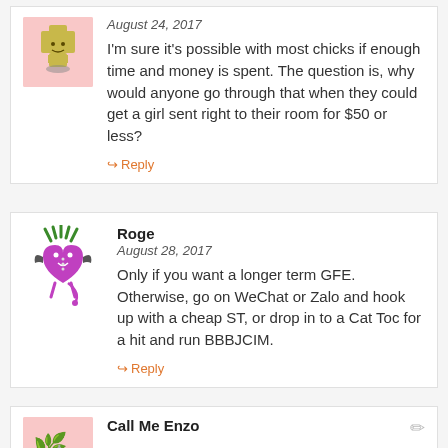August 24, 2017
I'm sure it's possible with most chicks if enough time and money is spent. The question is, why would anyone go through that when they could get a girl sent right to their room for $50 or less?
Reply
Roge
August 28, 2017
Only if you want a longer term GFE. Otherwise, go on WeChat or Zalo and hook up with a cheap ST, or drop in to a Cat Toc for a hit and run BBBJCIM.
Reply
Call Me Enzo